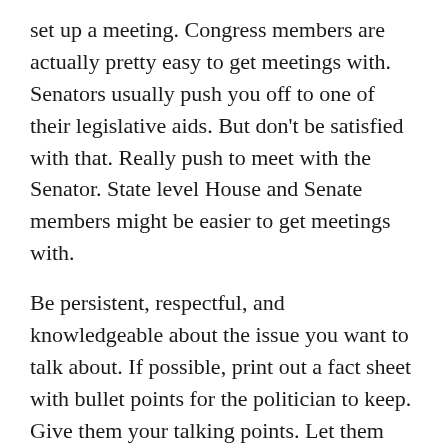set up a meeting. Congress members are actually pretty easy to get meetings with. Senators usually push you off to one of their legislative aids. But don't be satisfied with that. Really push to meet with the Senator. State level House and Senate members might be easier to get meetings with.
Be persistent, respectful, and knowledgeable about the issue you want to talk about. If possible, print out a fact sheet with bullet points for the politician to keep. Give them your talking points. Let them know that you are an atheist and that you vote. I also recommend contacting the Secular Coalition for American and the National Atheism Party before your meeting and ask them for some tips.
Finally, after your meeting let everyone know how